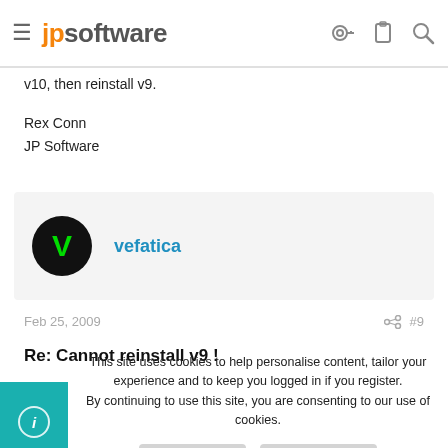≡ jpsoftware [icons: key, clipboard, search]
v10, then reinstall v9.
Rex Conn
JP Software
vefatica
Feb 25, 2009  #9
Re: Cannot reinstall v9 !
This site uses cookies to help personalise content, tailor your experience and to keep you logged in if you register.
By continuing to use this site, you are consenting to our use of cookies.